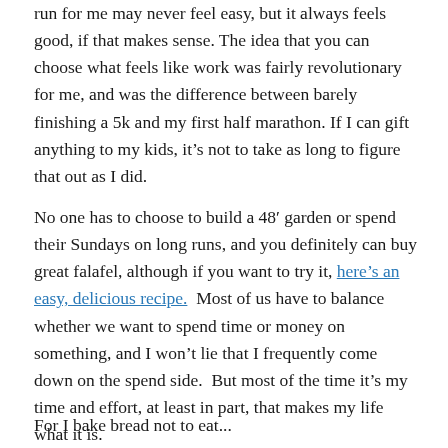run for me may never feel easy, but it always feels good, if that makes sense.  The idea that you can choose what feels like work was fairly revolutionary for me, and was the difference between barely finishing a 5k and my first half marathon. If I can gift anything to my kids, it's not to take as long to figure that out as I did.
No one has to choose to build a 48' garden or spend their Sundays on long runs, and you definitely can buy great falafel, although if you want to try it, here's an easy, delicious recipe.  Most of us have to balance whether we want to spend time or money on something, and I won't lie that I frequently come down on the spend side.  But most of the time it's my time and effort, at least in part, that makes my life what it is.
For I bake bread not to eat...